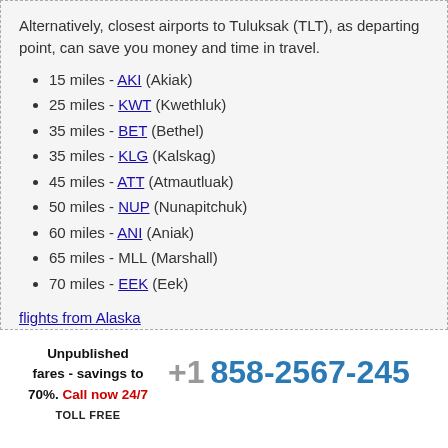Alternatively, closest airports to Tuluksak (TLT), as departing point, can save you money and time in travel.
15 miles - AKI (Akiak)
25 miles - KWT (Kwethluk)
35 miles - BET (Bethel)
35 miles - KLG (Kalskag)
45 miles - ATT (Atmautluak)
50 miles - NUP (Nunapitchuk)
60 miles - ANI (Aniak)
65 miles - MLL (Marshall)
70 miles - EEK (Eek)
flights from Alaska
Unpublished fares - savings to 70%. Call now 24/7 TOLL FREE
+1 858-2567-245